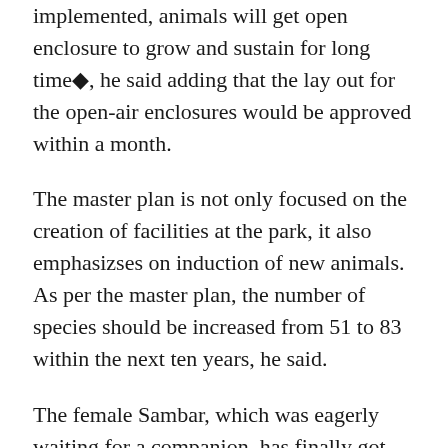implemented, animals will get open enclosure to grow and sustain for long time◆, he said adding that the lay out for the open-air enclosures would be approved within a month.
The master plan is not only focused on the creation of facilities at the park, it also emphasizses on induction of new animals. As per the master plan, the number of species should be increased from 51 to 83 within the next ten years, he said.
The female Sambar, which was eagerly waiting for a companion, has finally got her partner. On July 12, the Park authority received a male Sambar from Patna Zoological Park under animal exchange programme. Earlier, one pair of clouded leopard cats was given to the